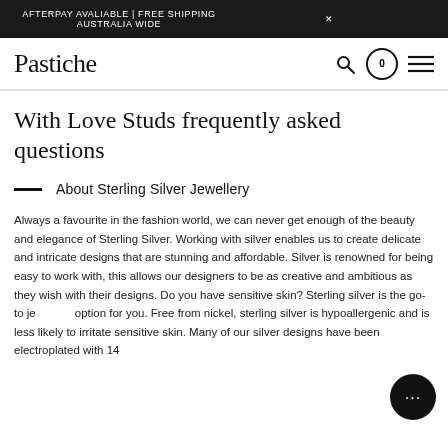AFTERPAY AVALIABLE | FREE SHIPPING AUSTRALIA WIDE
[Figure (logo): Pastiche brand logo in serif font]
With Love Studs frequently asked questions
About Sterling Silver Jewellery
Always a favourite in the fashion world, we can never get enough of the beauty and elegance of Sterling Silver. Working with silver enables us to create delicate and intricate designs that are stunning and affordable. Silver is renowned for being easy to work with, this allows our designers to be as creative and ambitious as they wish with their designs. Do you have sensitive skin? Sterling silver is the go-to jewellery option for you. Free from nickel, sterling silver is hypoallergenic and is less likely to irritate sensitive skin. Many of our silver designs have been electroplated with 14